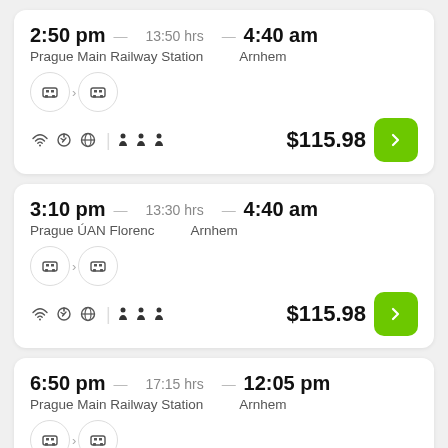2:50 pm — 13:50 hrs — 4:40 am
Prague Main Railway Station   Arnhem
$115.98
3:10 pm — 13:30 hrs — 4:40 am
Prague ÚAN Florenc   Arnhem
$115.98
6:50 pm — 17:15 hrs — 12:05 pm
Prague Main Railway Station   Arnhem